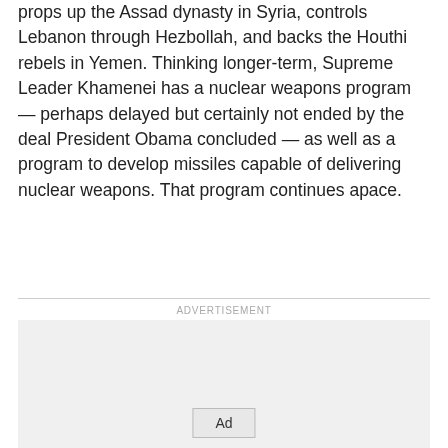props up the Assad dynasty in Syria, controls Lebanon through Hezbollah, and backs the Houthi rebels in Yemen. Thinking longer-term, Supreme Leader Khamenei has a nuclear weapons program — perhaps delayed but certainly not ended by the deal President Obama concluded — as well as a program to develop missiles capable of delivering nuclear weapons. That program continues apace.
[Figure (other): Advertisement placeholder box with 'ADVERTISEMENT' label above and 'Ad' button centered inside a light gray rectangle]